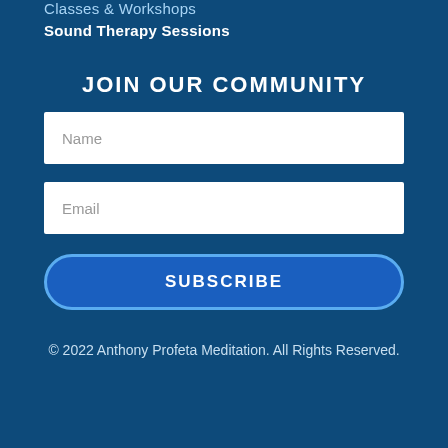Classes & Workshops
Sound Therapy Sessions
JOIN OUR COMMUNITY
Name
Email
SUBSCRIBE
© 2022 Anthony Profeta Meditation. All Rights Reserved.
Spark My Site | Login